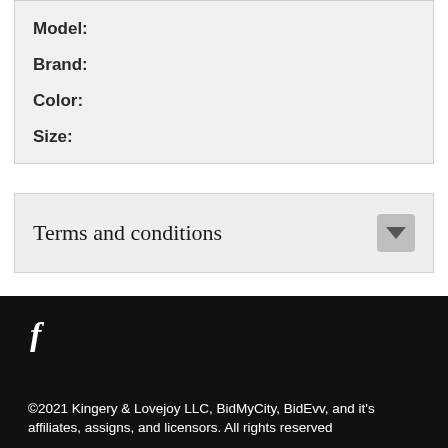Model:
Brand:
Color:
Size:
Terms and conditions
[Figure (other): Facebook social media icon in white on black footer]
©2021 Kingery & Lovejoy LLC, BidMyCity, BidEvv, and it's affiliates, assigns, and licensors. All rights reserved